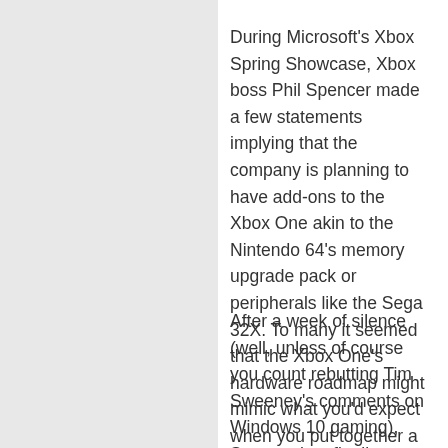During Microsoft's Xbox Spring Showcase, Xbox boss Phil Spencer made a few statements implying that the company is planning to have add-ons to the Xbox One akin to the Nintendo 64's memory upgrade pack or peripherals like the Sega 32X. To many it seemed that the Xbox One's hardware roadmap might mimic what you'd expect when you put together a gaming PC.
After a week of silence (well, unless of course you count rebutting Tim Sweeney's comments on Windows 10 gaming), Spencer has finally explained that you won't be opening up your Xbox One to give it a boost in games.
“The feedback I’ve received about, ‘Hey, am I going to break open my console and start upgrading individual pieces of